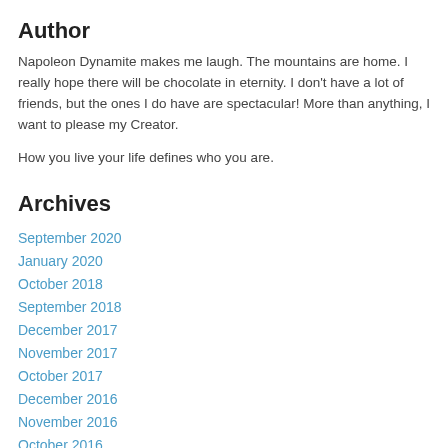Author
Napoleon Dynamite makes me laugh. The mountains are home.  I really hope there will be chocolate in eternity. I don't have a lot of friends, but the ones I do have are spectacular! More than anything, I want to please my Creator.
How you live your life defines who you are.
Archives
September 2020
January 2020
October 2018
September 2018
December 2017
November 2017
October 2017
December 2016
November 2016
October 2016